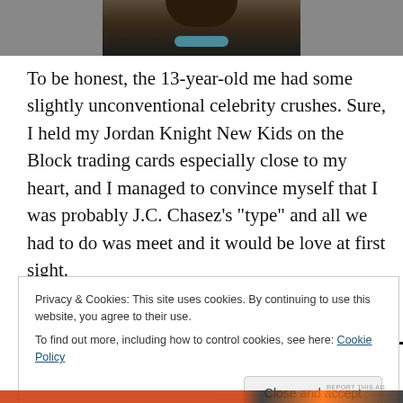[Figure (photo): Cropped top portion of a person wearing a black jacket and beaded necklace]
To be honest, the 13-year-old me had some slightly unconventional celebrity crushes. Sure, I held my Jordan Knight New Kids on the Block trading cards especially close to my heart, and I managed to convince myself that I was probably J.C. Chasez’s “type” and all we had to do was meet and it would be love at first sight.
Privacy & Cookies: This site uses cookies. By continuing to use this website, you agree to their use.
To find out more, including how to control cookies, see here: Cookie Policy